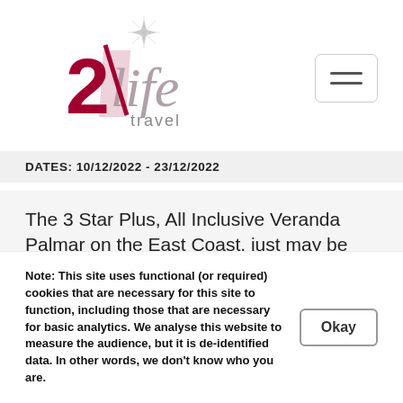[Figure (logo): 2life travel logo with a stylized red number 2 and italic grey 'life' text, with a star above and 'travel' below]
DATES: 10/12/2022 - 23/12/2022
The 3 Star Plus, All Inclusive Veranda Palmar on the East Coast, just may be located on the most beautiful stretch of powdery white sand you have ever seen. Add to this the huge
Note: This site uses functional (or required) cookies that are necessary for this site to function, including those that are necessary for basic analytics. We analyse this website to measure the audience, but it is de-identified data. In other words, we don't know who you are.